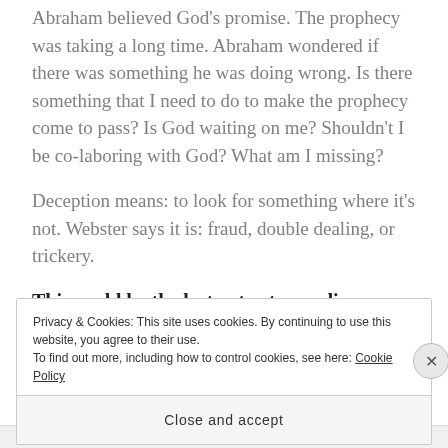Abraham believed God's promise. The prophecy was taking a long time. Abraham wondered if there was something he was doing wrong. Is there something that I need to do to make the prophecy come to pass? Is God waiting on me? Shouldn't I be co-laboring with God? What am I missing?
Deception means: to look for something where it's not. Webster says it is: fraud, double dealing, or trickery.
This could be the lost entry to my diary: Turning
Privacy & Cookies: This site uses cookies. By continuing to use this website, you agree to their use. To find out more, including how to control cookies, see here: Cookie Policy
Close and accept